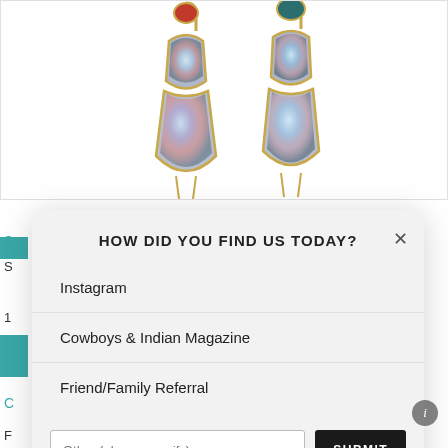[Figure (photo): Product photo of two gold earrings with opal-like stones — each earring has a small colored gemstone at top and a large teardrop/wing-shaped opal stone below, on white background.]
S
S
1
C
[Figure (screenshot): Modal dialog overlay asking 'HOW DID YOU FIND US TODAY?' with options: Instagram, Cowboys & Indian Magazine, Friend/Family Referral, and an 'Other (please specify)' text input with a SUBMIT button. An X close button appears in the top right of the modal.]